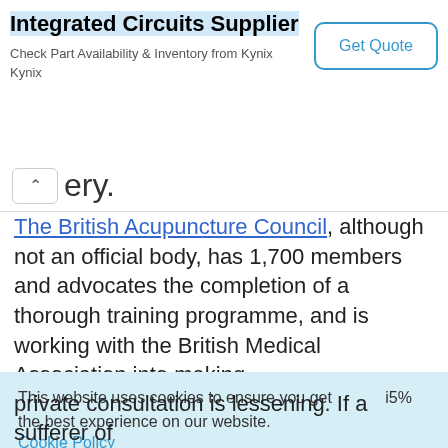[Figure (screenshot): Advertisement banner for Integrated Circuits Supplier — Kynix, with 'Get Quote' button]
▲  ery.
The British Acupuncture Council, although not an official body, has 1,700 members and advocates the completion of a thorough training programme, and is working with the British Medical Association into making
This website uses cookies to ensure you get the best experience on our website. Cookie Policy  Got it!
private consultation is lessening. If a sufferer of